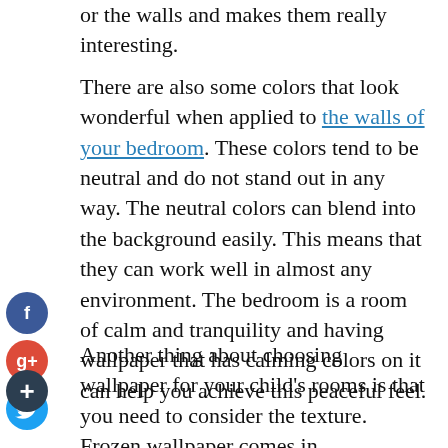or the walls and makes them really interesting.
There are also some colors that look wonderful when applied to the walls of your bedroom. These colors tend to be neutral and do not stand out in any way. The neutral colors can blend into the background easily. This means that they can work well in almost any environment. The bedroom is a room of calm and tranquility and having wallpaper that has calming colors on it can help you achieve this peaceful feel.
Another thing about choosing wallpaper for your child's rooms is that you need to consider the texture. Frozen wallpaper comes in